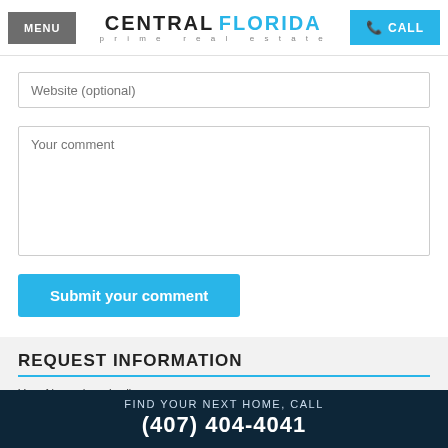MENU | CENTRAL FLORIDA prime real estate | CALL
Website (optional)
Your comment
Submit your comment
REQUEST INFORMATION
Your Name (required)
FIND YOUR NEXT HOME, CALL (407) 404-4041